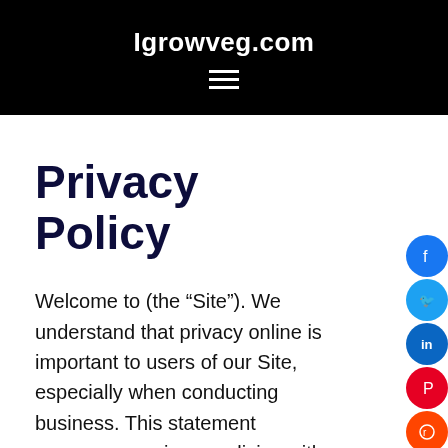Igrowveg.com
Privacy Policy
Welcome to (the “Site”). We understand that privacy online is important to users of our Site, especially when conducting business. This statement governs our privacy policies with respect to those users of the Site (“Visitors”) who visit without transacting business and Visitors who register to transact business on the Site and make use of